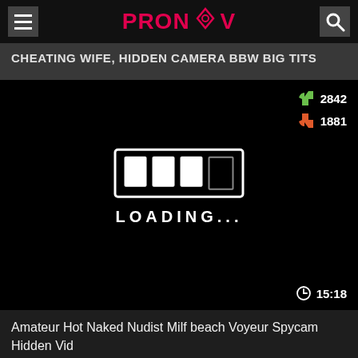PRONOOV
CHEATING WIFE, HIDDEN CAMERA BBW BIG TITS
[Figure (screenshot): Video player showing loading screen with white loading bar graphic and text 'LOADING...' on black background. Thumbs up: 2842, Thumbs down: 1881, Duration: 15:18]
Amateur Hot Naked Nudist Milf beach Voyeur Spycam Hidden Vid